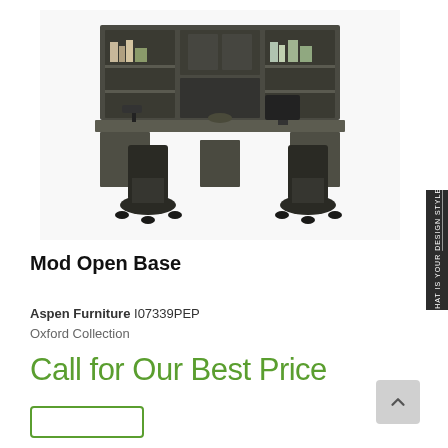[Figure (photo): Dark gray/charcoal wood dual home office set with large bookcase hutch, two desks, and two rolling office chairs. The furniture is in an Oxford Collection style by Aspen Furniture.]
Mod Open Base
Aspen Furniture I07339PEP
Oxford Collection
Call for Our Best Price